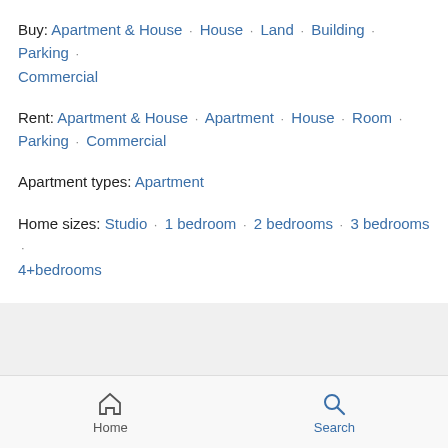Buy:  Apartment & House · House · Land · Building · Parking · Commercial
Rent:  Apartment & House · Apartment · House · Room · Parking · Commercial
Apartment types:  Apartment
Home sizes:  Studio · 1 bedroom · 2 bedrooms · 3 bedrooms · 4+bedrooms
Popular criteria:  Luxury
Sell your home:  Real estate agents
Buy a house now